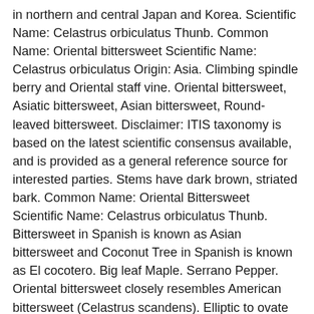in northern and central Japan and Korea. Scientific Name: Celastrus orbiculatus Thunb. Common Name: Oriental bittersweet Scientific Name: Celastrus orbiculatus Origin: Asia. Climbing spindle berry and Oriental staff vine. Oriental bittersweet, Asiatic bittersweet, Asian bittersweet, Round-leaved bittersweet. Disclaimer: ITIS taxonomy is based on the latest scientific consensus available, and is provided as a general reference source for interested parties. Stems have dark brown, striated bark. Common Name: Oriental Bittersweet Scientific Name: Celastrus orbiculatus Thunb. Bittersweet in Spanish is known as Asian bittersweet and Coconut Tree in Spanish is known as El cocotero. Big leaf Maple. Serrano Pepper. Oriental bittersweet closely resembles American bittersweet (Celastrus scandens). Elliptic to ovate leaves are alternate and spiral evenly around the stem. ... Asiatic bittersweet. Home. A. Ailanthus altissima (Tree-of-Heaven) ... Celastrus orbiculatus (Oriental Bittersweet) Bittersweet is commonly known as American bittersweet, bittersweet, bitter nightshade, woody nightshade, climbing bittersweet, false